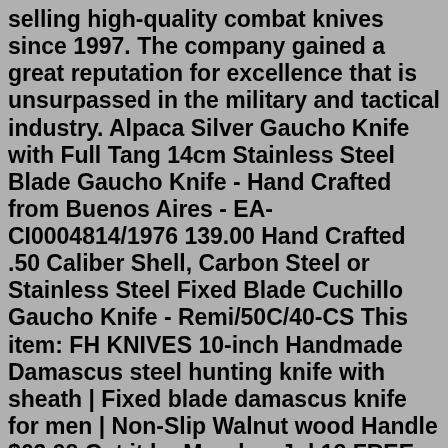selling high-quality combat knives since 1997. The company gained a great reputation for excellence that is unsurpassed in the military and tactical industry. Alpaca Silver Gaucho Knife with Full Tang 14cm Stainless Steel Blade Gaucho Knife - Hand Crafted from Buenos Aires - EA-CI0004814/1976 139.00 Hand Crafted .50 Caliber Shell, Carbon Steel or Stainless Steel Fixed Blade Cuchillo Gaucho Knife - Remi/50C/40-CS This item: FH KNIVES 10-inch Handmade Damascus steel hunting knife with sheath | Fixed blade damascus knife for men | Non-Slip Walnut wood Handle $63.98 Get it by Monday, Jul 18 FREE Shipping on orders over $35 shipped by Amazon Oct 22, 2021 · Best of the best kukri knife. KA-BAR #BK21 Becker/Reinhardt Kukri Knife: available at Amazon. Our take: From the makers of the original combat knives used by the U.S. Marine Corps, the Becker ... rn12yc spark plug cross reference Hinderer Halftrack a TANK of a Knife, Knife ReviewShowing off this tank if a knife. This knife review will go through the entire knife tip to tail